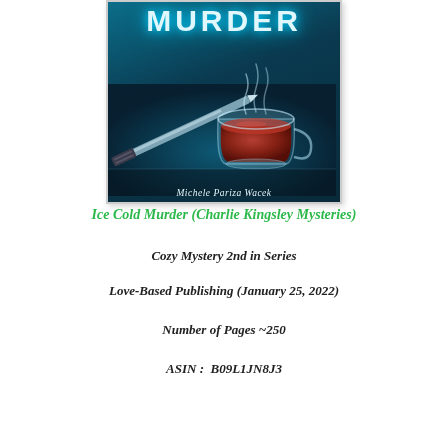[Figure (illustration): Book cover for 'Ice Cold Murder' by Michele Pariza Wacek. Dark teal/blue background with a steaming glass tea cup filled with red tea, a kitchen knife lying diagonally, and the word MURDER at the top. Author name at the bottom.]
Ice Cold Murder (Charlie Kingsley Mysteries)
Cozy Mystery 2nd in Series
Love-Based Publishing (January 25, 2022)
Number of Pages ~250
ASIN :  B09L1JN8J3